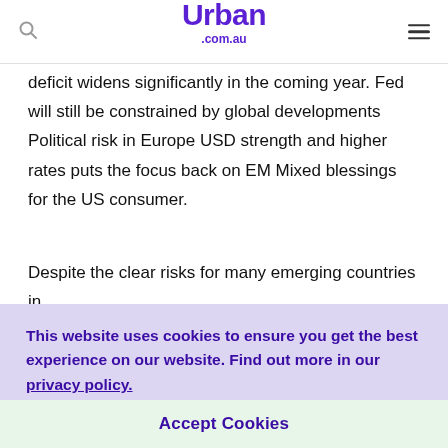Urban .com.au
deficit widens significantly in the coming year. Fed will still be constrained by global developments Political risk in Europe USD strength and higher rates puts the focus back on EM Mixed blessings for the US consumer.
Despite the clear risks for many emerging countries in
This website uses cookies to ensure you get the best experience on our website. Find out more in our privacy policy.
Accept Cookies